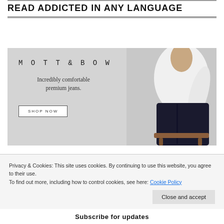READ ADDICTED IN ANY LANGUAGE
[Figure (illustration): Mott & Bow advertisement showing a person wearing dark jeans and white shirt seated on a wooden stool. Text reads 'MOTT & BOW', 'Incredibly comfortable premium jeans.' with a 'SHOP NOW' button.]
Privacy & Cookies: This site uses cookies. By continuing to use this website, you agree to their use.
To find out more, including how to control cookies, see here: Cookie Policy
Close and accept
Subscribe for updates